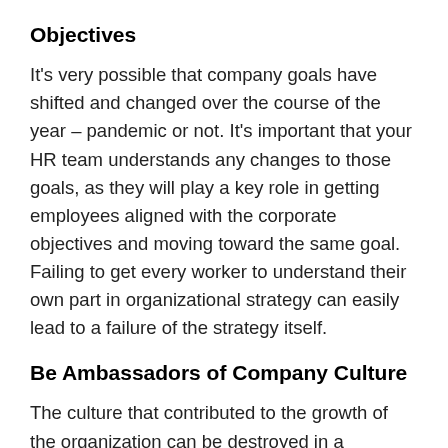Objectives
It's very possible that company goals have shifted and changed over the course of the year – pandemic or not. It's important that your HR team understands any changes to those goals, as they will play a key role in getting employees aligned with the corporate objectives and moving toward the same goal. Failing to get every worker to understand their own part in organizational strategy can easily lead to a failure of the strategy itself.
Be Ambassadors of Company Culture
The culture that contributed to the growth of the organization can be destroyed in a heartbeat during a crisis. How can HR fill this role of a